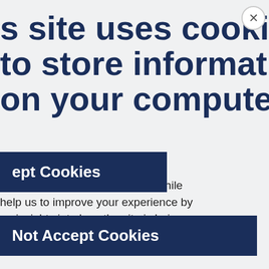[Figure (screenshot): Cookie consent modal overlay on a council website. Left portion shows a dark-navy modal with large bold text about cookies, descriptive body text, and two buttons. Right side shows the Maidstone Borough Council website with dark blue background, logo, newsletter signup area, and a grey footer section.]
s site uses cookies to store information on your computer.
of these cookies are essential, while help us to improve your experience by ng insights into how the site is being
ept Cookies
Not Accept Cookies
dates from cil.
CRIBE